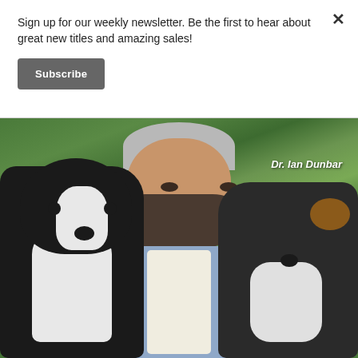Sign up for our weekly newsletter. Be the first to hear about great new titles and amazing sales!
Subscribe
[Figure (photo): Dr. Ian Dunbar smiling and holding two black-and-white puppies, with a green outdoor background. Text overlay reads 'Dr. Ian Dunbar'.]